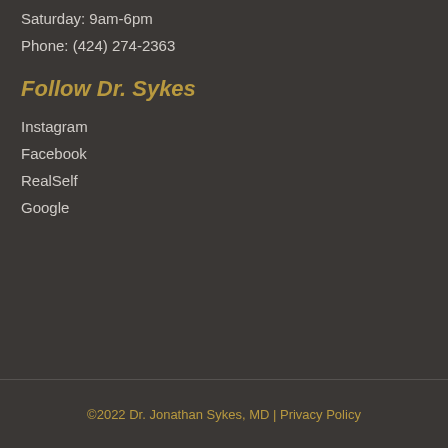Saturday: 9am-6pm
Phone: (424) 274-2363
Follow Dr. Sykes
Instagram
Facebook
RealSelf
Google
©2022 Dr. Jonathan Sykes, MD | Privacy Policy